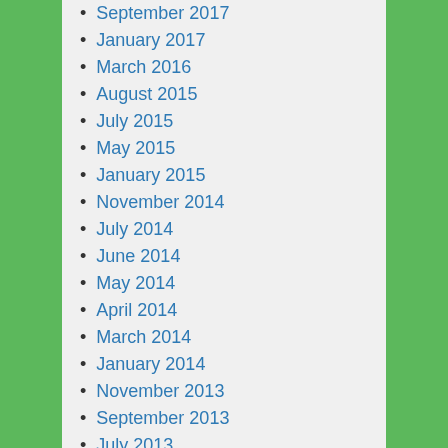September 2017
January 2017
March 2016
August 2015
July 2015
May 2015
January 2015
November 2014
July 2014
June 2014
May 2014
April 2014
March 2014
January 2014
November 2013
September 2013
July 2013
June 2013
April 2013
January 2013